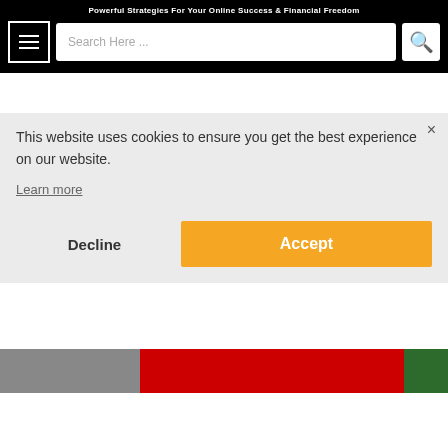Powerful Strategies For Your Online Success & Financial Freedom
24 Ways to Make Money
This website uses cookies to ensure you get the best experience on our website.

Learn more
Decline | Accept
[Figure (screenshot): Bottom image strip showing partial website article images]